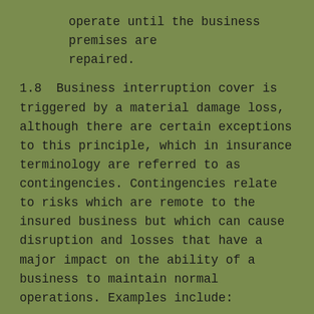operate until the business premises are repaired.
1.8  Business interruption cover is triggered by a material damage loss, although there are certain exceptions to this principle, which in insurance terminology are referred to as contingencies. Contingencies relate to risks which are remote to the insured business but which can cause disruption and losses that have a major impact on the ability of a business to maintain normal operations. Examples include:
(a)  Prevention of access: where the business is unable to gain access to its